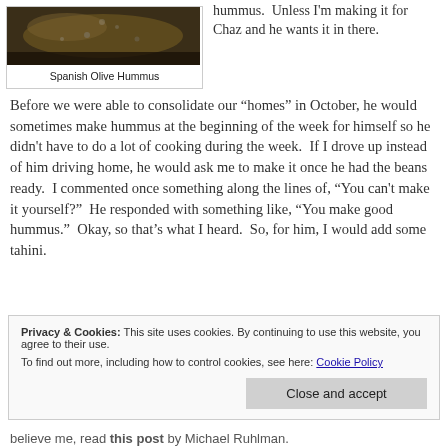[Figure (photo): Close-up photo of Spanish Olive Hummus in a dark bowl]
Spanish Olive Hummus
hummus.  Unless I'm making it for Chaz and he wants it in there.  Before we were able to consolidate our “homes” in October, he would sometimes make hummus at the beginning of the week for himself so he didn't have to do a lot of cooking during the week.  If I drove up instead of him driving home, he would ask me to make it once he had the beans ready.  I commented once something along the lines of, “You can't make it yourself?”  He responded with something like, “You make good hummus.”  Okay, so that’s what I heard.  So, for him, I would add some tahini.
Privacy & Cookies: This site uses cookies. By continuing to use this website, you agree to their use.
To find out more, including how to control cookies, see here: Cookie Policy
believe me, read this post by Michael Ruhlman.